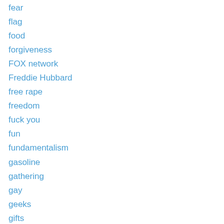fear
flag
food
forgiveness
FOX network
Freddie Hubbard
free rape
freedom
fuck you
fun
fundamentalism
gasoline
gathering
gay
geeks
gifts
globalization
God
Goodbye Bush
Google